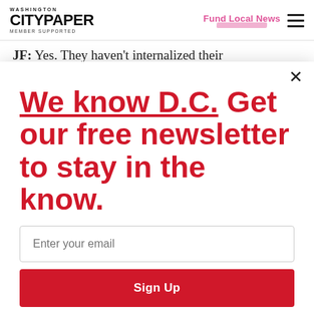WASHINGTON CITYPAPER MEMBER SUPPORTED | Fund Local News
JF: Yes. They haven't internalized their
[Figure (screenshot): Newsletter signup modal overlay with headline 'We know D.C. Get our free newsletter to stay in the know.' with email input field and Sign Up button]
We know D.C. Get our free newsletter to stay in the know.
Enter your email
Sign Up
Unsubscribe any time.